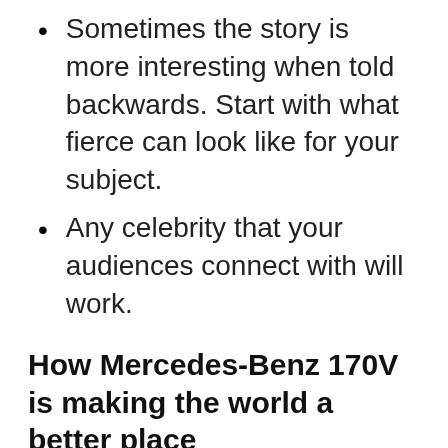Sometimes the story is more interesting when told backwards. Start with what fierce can look like for your subject.
Any celebrity that your audiences connect with will work.
How Mercedes-Benz 170V is making the world a better place
Don't worry about scope. If your keyword makes even the tiniest improvement, you are good.